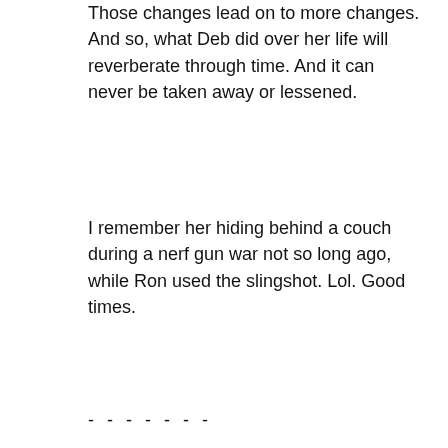Those changes lead on to more changes. And so, what Deb did over her life will reverberate through time. And it can never be taken away or lessened.
I remember her hiding behind a couch during a nerf gun war not so long ago, while Ron used the slingshot. Lol. Good times.
- - - - - - -
In a loss of life situation people often fear that the person's life is erased. So I worked to quell that fear first. Then, people often try to remember a person in general, and then freak out because they cannot. So I referenced a specific shared memory to help make a good memory real for him, and start that process in a good direction.
If he starts grieving now then he has to rewrite